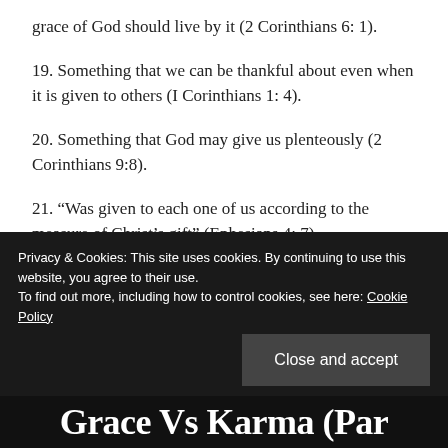grace of God should live by it (2 Corinthians 6: 1).
19. Something that we can be thankful about even when it is given to others (I Corinthians 1: 4).
20. Something that God may give us plenteously (2 Corinthians 9:8).
21. “Was given to each one of us according to the measure of Christ’s gift” (Ephesians 4: 7).
Leave a Comment
Privacy & Cookies: This site uses cookies. By continuing to use this website, you agree to their use.
To find out more, including how to control cookies, see here: Cookie Policy
Close and accept
Grace Vs Karma (Par